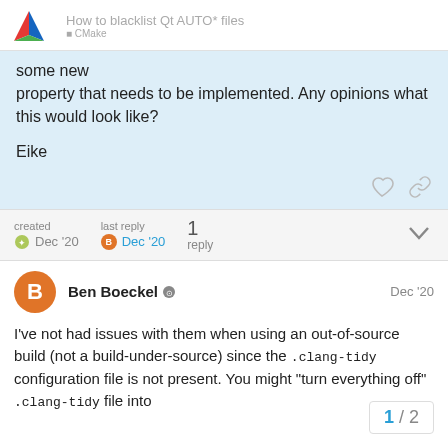How to blacklist Qt AUTO* files
some new property that needs to be implemented. Any opinions what this would look like?

Eike
created Dec '20  last reply Dec '20  1 reply
Ben Boeckel  Dec '20
I've not had issues with them when using an out-of-source build (not a build-under-source) since the .clang-tidy configuration file is not present. You might "turn everything off" .clang-tidy file into